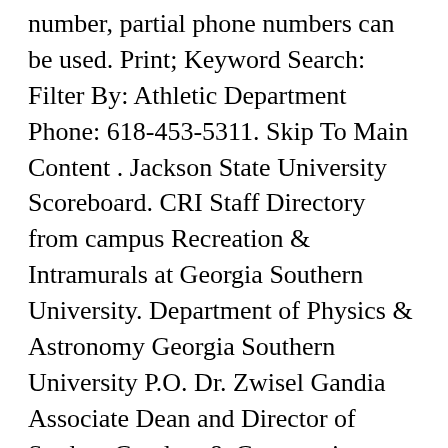number, partial phone numbers can be used. Print; Keyword Search: Filter By: Athletic Department Phone: 618-453-5311. Skip To Main Content . Jackson State University Scoreboard. CRI Staff Directory from campus Recreation & Intramurals at Georgia Southern University. Department of Physics & Astronomy Georgia Southern University P.O. Dr. Zwisel Gandia Associate Dean and Director of Student Conduct & Community Standards Russell Union 2022, Statesboro Campus 912-478-0059 zgandiatorres@georgiasouthern.edu Dr. Richelle Keilholz Assistant Dean of Student Care & Community Standards Student Union D206, Armstrong & Liberty Campuses 912-344-2514 rkeilholz@georgiasouthern.edu Leticia